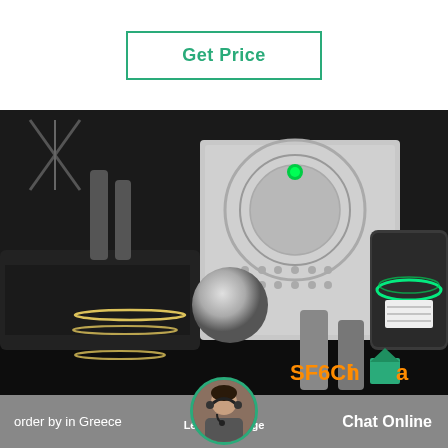Get Price
[Figure (photo): Dark industrial facility interior showing SF6 gas equipment — large white control panel with circular markings and green indicator light, spherical metallic component in center, worker with reflective jacket visible on left, cylindrical tank on right side with green neon lighting, SF6China watermark logo in bottom right corner.]
order by in Greece
Leave Message
Chat Online